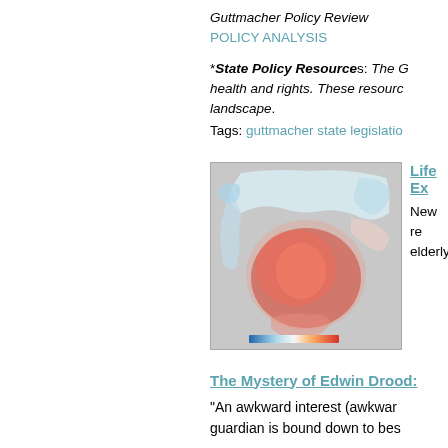Guttmacher Policy Review — POLICY ANALYSIS
*State Policy Resources: The G... health and rights. These resourc... landscape.
Tags: guttmacher state legislatio...
[Figure (map): Color map of North America showing temperature or health data variation, with red concentrated in central/southern US and blue in northern regions. Color scale bar at bottom.]
Life Ex...
New re... elderly...
The Mystery of Edwin Drood: ...
"An awkward interest (awkwar... guardian is bound down to bes...